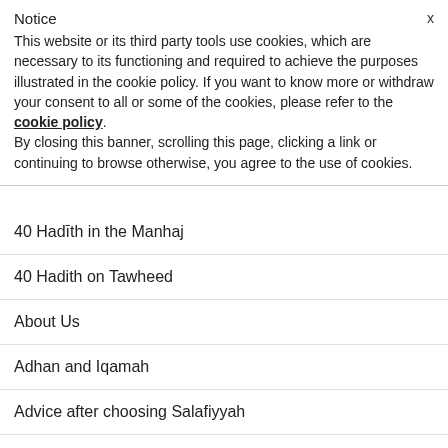Notice
This website or its third party tools use cookies, which are necessary to its functioning and required to achieve the purposes illustrated in the cookie policy. If you want to know more or withdraw your consent to all or some of the cookies, please refer to the cookie policy.
By closing this banner, scrolling this page, clicking a link or continuing to browse otherwise, you agree to the use of cookies.
40 Hadīth in the Manhaj
40 Hadith on Tawheed
About Us
Adhan and Iqamah
Advice after choosing Salafiyyah
Al-Adab Al-Mufrad
Al-Hamawiyyah Al-Kubrā
Al-…